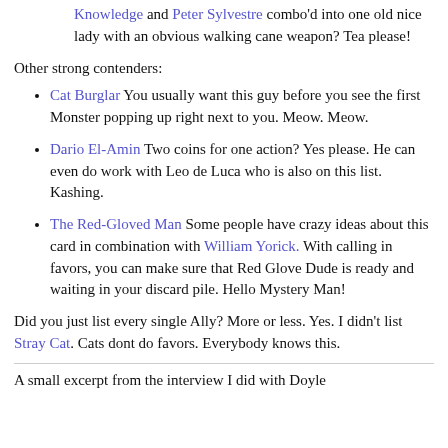Knowledge and Peter Sylvestre combo'd into one old nice lady with an obvious walking cane weapon? Tea please!
Other strong contenders:
Cat Burglar You usually want this guy before you see the first Monster popping up right next to you. Meow. Meow.
Dario El-Amin Two coins for one action? Yes please. He can even do work with Leo de Luca who is also on this list. Kashing.
The Red-Gloved Man Some people have crazy ideas about this card in combination with William Yorick. With calling in favors, you can make sure that Red Glove Dude is ready and waiting in your discard pile. Hello Mystery Man!
Did you just list every single Ally? More or less. Yes. I didn't list Stray Cat. Cats dont do favors. Everybody knows this.
A small excerpt from the interview I did with Doyle